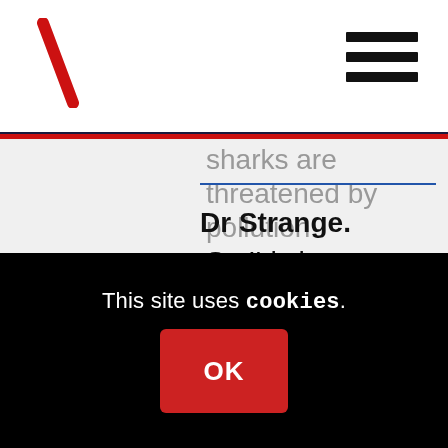sharks are threatened by pollution. So I'd sharpen up on Lit Crit, if I were you. Not sure what the '(a)moral vacuum cleaner' to which you refer is, can't remember writing that one. And I'm keen to find out which lines from my poem 'Vote Britain' are 'racist'. Do pick them out for me, please.
Dr Strange.
This site uses cookies.
OK